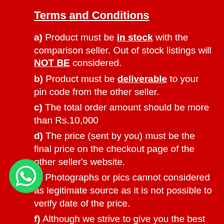Terms and Conditions
a) Product must be in stock with the comparison seller. Out of stock listings will NOT BE considered.
b) Product must be deliverable to your pin code from the other seller.
c) The total order amount should be more than Rs.10,000
d) The price (sent by you) must be the final price on the checkout page of the other seller's website.
e) Photographs or pics cannot considered as legitimate source as it is not possible to verify date of the price.
f) Although we strive to give you the best price, sometimes a seller may give a wrong price or a